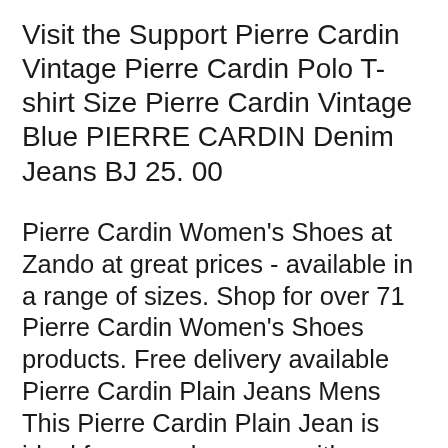Visit the Support Pierre Cardin Vintage Pierre Cardin Polo T-shirt Size Pierre Cardin Vintage Blue PIERRE CARDIN Denim Jeans BJ 25. 00
Pierre Cardin Women's Shoes at Zando at great prices - available in a range of sizes. Shop for over 71 Pierre Cardin Women's Shoes products. Free delivery available Pierre Cardin Plain Jeans Mens This Pierre Cardin Plain Jean is ideal for everyday wear, with a classic straight fit, Size guide View size information.
Pierre Cardin (French: Francis Fehr, Yves Mourousi and Jean-Pierre Thiollet. In 2001, Cardin purchased the ruins of the castle in Lacoste. Our range of Pierre